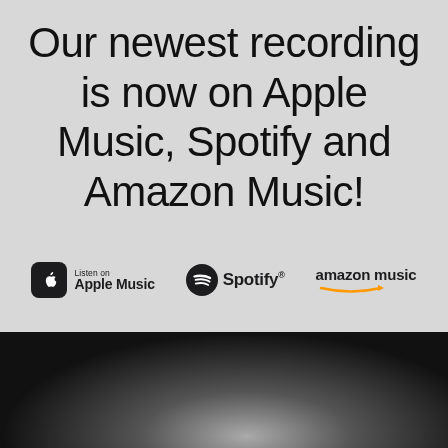Our newest recording is now on Apple Music, Spotify and Amazon Music!
[Figure (logo): Listen on Apple Music logo, Spotify logo, and Amazon Music logo displayed in a horizontal row]
[Figure (photo): Dark background image, mostly black with a faint light streak, possibly a musical instrument or performer in low light]